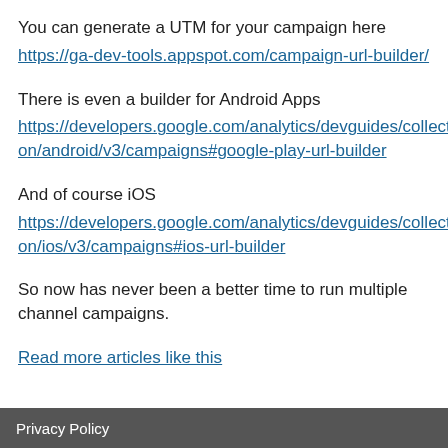You can generate a UTM for your campaign here
https://ga-dev-tools.appspot.com/campaign-url-builder/
There is even a builder for Android Apps
https://developers.google.com/analytics/devguides/collection/android/v3/campaigns#google-play-url-builder
And of course iOS
https://developers.google.com/analytics/devguides/collection/ios/v3/campaigns#ios-url-builder
So now has never been a better time to run multiple channel campaigns.
Read more articles like this
Privacy Policy